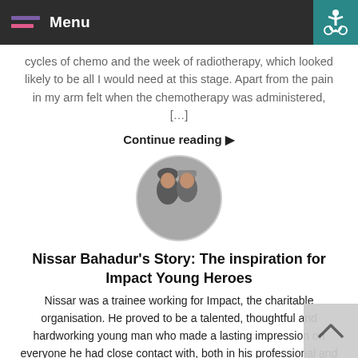Menu
cycles of chemo and the week of radiotherapy, which looked likely to be all I would need at this stage. Apart from the pain in my arm felt when the chemotherapy was administered, […]
Continue reading ▶
[Figure (photo): Circular portrait photo of two people (a woman and a man) close together]
Nissar Bahadur's Story: The inspiration for Impact Young Heroes
Nissar was a trainee working for Impact, the charitable organisation. He proved to be a talented, thoughtful and hardworking young man who made a lasting impression on everyone he had close contact with, both in his professional and personal life. In early 2004 he developed a stomach complaint which progressively got worse. To everyone's shock, […]
Continue reading ▶